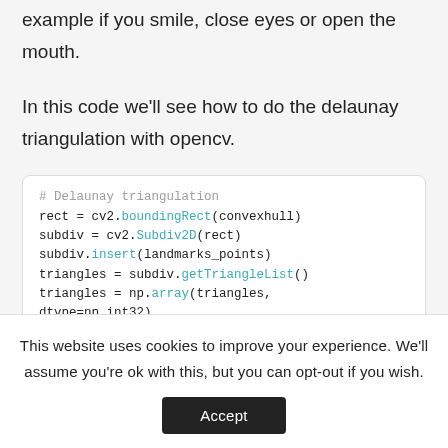example if you smile, close eyes or open the mouth.
In this code we'll see how to do the delaunay triangulation with opencv.
# Delaunay triangulation
rect = cv2.boundingRect(convexhull)
subdiv = cv2.Subdiv2D(rect)
subdiv.insert(landmarks_points)
triangles = subdiv.getTriangleList()
triangles = np.array(triangles,
dtype=np.int32)
This website uses cookies to improve your experience. We'll assume you're ok with this, but you can opt-out if you wish.
Accept